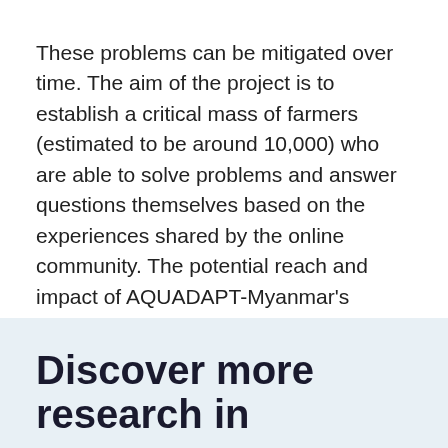These problems can be mitigated over time. The aim of the project is to establish a critical mass of farmers (estimated to be around 10,000) who are able to solve problems and answer questions themselves based on the experiences shared by the online community. The potential reach and impact of AQUADAPT-Myanmar's information and communications technology is expected to grow, especially when coupled with the Facebook country page, Facebook fish farmers groups, and hands-on training programs for farmers.
Discover more research in